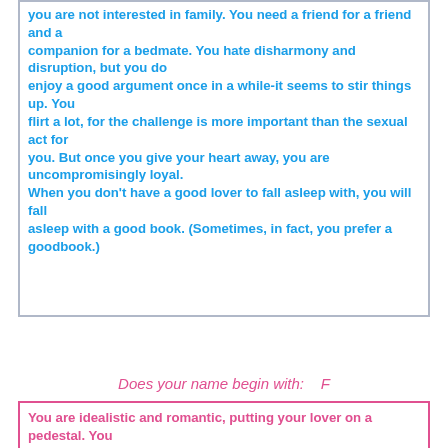you are not interested in family. You need a friend for a friend and a companion for a bedmate. You hate disharmony and disruption, but you do enjoy a good argument once in a while-it seems to stir things up. You flirt a lot, for the challenge is more important than the sexual act for you. But once you give your heart away, you are uncompromisingly loyal. When you don't have a good lover to fall asleep with, you will fall asleep with a good book. (Sometimes, in fact, you prefer a goodbook.)
Does your name begin with:   F
You are idealistic and romantic, putting your lover on a pedestal. You